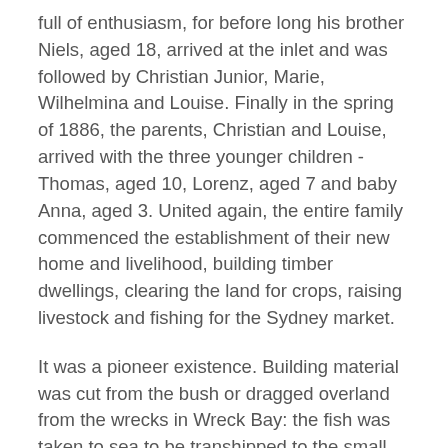full of enthusiasm, for before long his brother Niels, aged 18, arrived at the inlet and was followed by Christian Junior, Marie, Wilhelmina and Louise. Finally in the spring of 1886, the parents, Christian and Louise, arrived with the three younger children - Thomas, aged 10, Lorenz, aged 7 and baby Anna, aged 3. United again, the entire family commenced the establishment of their new home and livelihood, building timber dwellings, clearing the land for crops, raising livestock and fishing for the Sydney market.
It was a pioneer existence. Building material was cut from the bush or dragged overland from the wrecks in Wreck Bay: the fish was taken to sea to be transhipped to the small coastal steamers, the livestock guarded and nursed through the changing seasons. Then, twice in the one year, tragedy came to the pioneering family. In 1888 Niels with two companions sailed out of Jervis Bay bound for Sydney and were lost at sea. In the same